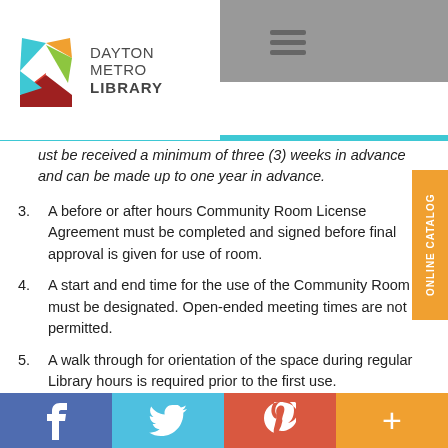[Figure (logo): Dayton Metro Library logo with colorful pinwheel graphic and text]
...must be received a minimum of three (3) weeks in advance and can be made up to one year in advance.
3. A before or after hours Community Room License Agreement must be completed and signed before final approval is given for use of room.
4. A start and end time for the use of the Community Room must be designated. Open-ended meeting times are not permitted.
5. A walk through for orientation of the space during regular Library hours is required prior to the first use.
6. Before and after hours use is restricted to Community Rooms which have been designed to prevent access to the rest of the Library, either...